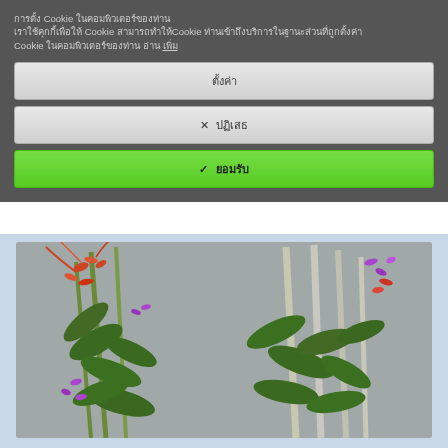การตั้ง Cookieในคอมพิวเตอร์ของท่าน เราใช้คุกกี้เพื่อให้ Cookie สามารถทำให้Cookie ท่านเข้าถึงบริการในฐานะส่วนที่ถูกตั้งค่า Cookie ในคอมพิวเตอร์ของท่าน อ่าน เพิ่ม
ตั้งค่า
✕ ปฏิเสธ
✓ ยอมรับ
[Figure (photo): Photo of Epidendrum capricornu orchid plants with multiple stems, green leaves, and small orange-red and purple flowers against a grey background]
Epidendrum capricornu